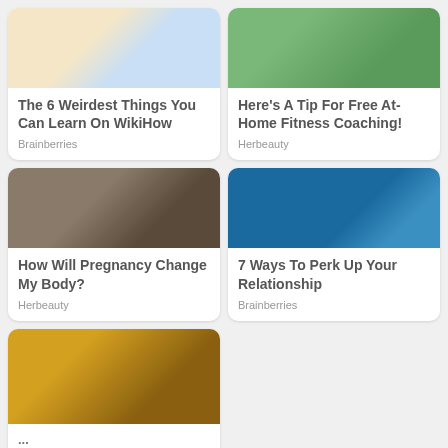[Figure (photo): WikiHow illustration showing incorrect vs correct leg/pants comparison with red X and green checkmark]
The 6 Weirdest Things You Can Learn On WikiHow
Brainberries
[Figure (photo): Person in athletic wear outdoors near hedge]
Here's A Tip For Free At-Home Fitness Coaching!
Herbeauty
[Figure (photo): Close-up of pregnant belly with hands cradling it]
How Will Pregnancy Change My Body?
Herbeauty
[Figure (photo): Person swimming in an infinity pool with scenic view]
7 Ways To Perk Up Your Relationship
Brainberries
[Figure (photo): Couple at a wedding, groom in tuxedo looking away, bride with flower in hair eating]